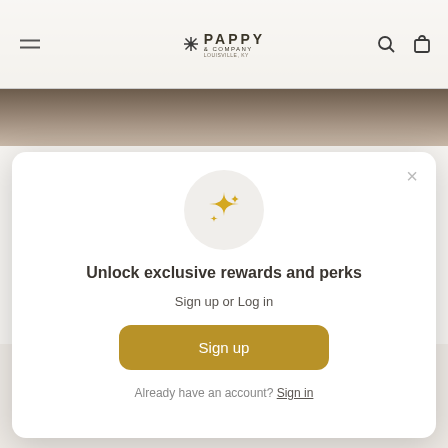PAPPY & COMPANY
A Look Inside the Pappy Van Winkle Bourbon Business
[Figure (screenshot): Modal popup dialog with sparkle icon, rewards signup prompt with Sign up button and Sign in link]
Unlock exclusive rewards and perks
Sign up or Log in
Sign up
Already have an account? Sign in